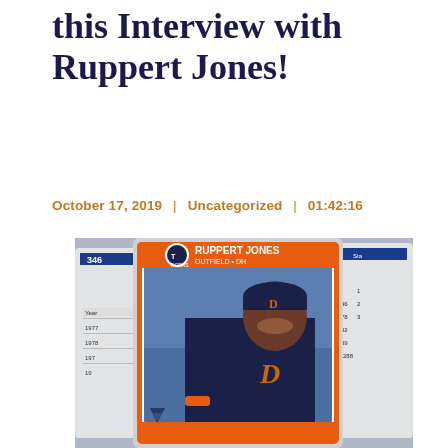this Interview with Ruppert Jones!
October 17, 2019  |  Uncategorized  |  01:42:16
[Figure (photo): Baseball card of Ruppert Jones, Detroit Tigers outfield/DH, showing him smiling in Tigers uniform. Multiple baseball cards visible in the background showing stats from 1977, 1978, and other years.]